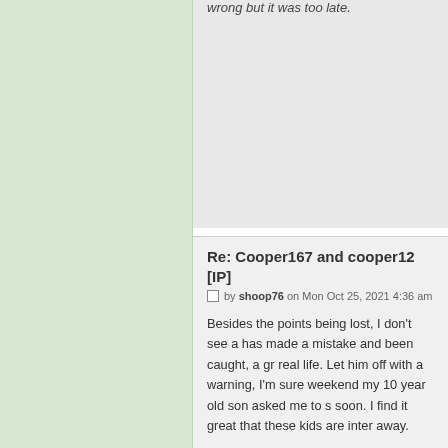wrong but it was too late.
Re: Cooper167 and cooper12 [IP]
by shoop76 on Mon Oct 25, 2021 4:36 am
Besides the points being lost, I don't see a has made a mistake and been caught, a gr real life. Let him off with a warning, I'm sure weekend my 10 year old son asked me to s soon. I find it great that these kids are inter away.